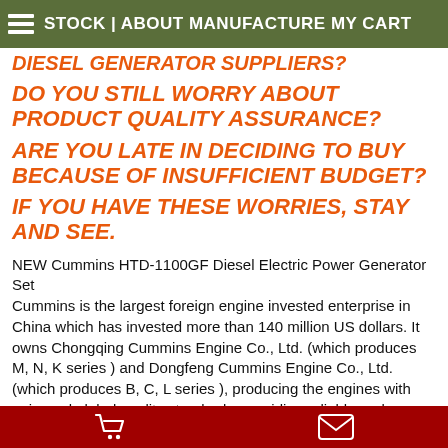STOCK | ABOUT MANUFACTURE MY CART
DIESEL GENERATOR SUPPLIERS?
DO YOU STILL WORRY ABOUT PRODUCT QUALITY ASSURANCE?
ARE YOU LATE IN DECIDING TO BUY BECAUSE OF INSUFFICIENT BUDGET?
IF YOU HAVE THESE WORRIES, STAY AND SEE.
NEW Cummins HTD-1100GF Diesel Electric Power Generator Set
Cummins is the largest foreign engine invested enterprise in China which has invested more than 140 million US dollars. It owns Chongqing Cummins Engine Co., Ltd. (which produces M, N, K series ) and Dongfeng Cummins Engine Co., Ltd. (which produces B, C, L series ), producing the engines with universal global quality standards, providing reliable and efficient guarantee due to its international service network. The